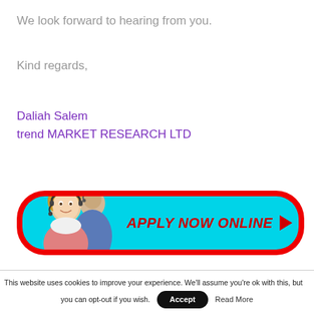We look forward to hearing from you.
Kind regards,
Daliah Salem
trend MARKET RESEARCH LTD
[Figure (infographic): A cyan/turquoise button with red border and rounded corners, showing two people wearing headsets on the left side, and bold red italic text reading 'APPLY NOW ONLINE ▶' on the right side.]
This website uses cookies to improve your experience. We'll assume you're ok with this, but you can opt-out if you wish. Accept Read More